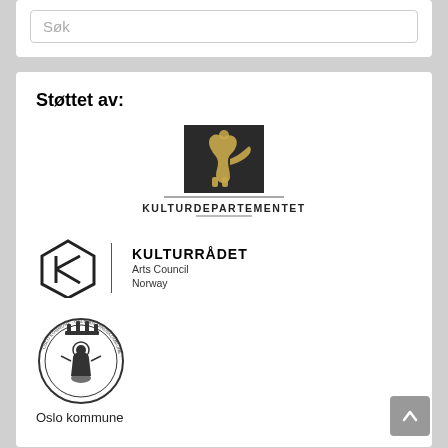Søk
Støttet av:
[Figure (logo): Kulturdepartementet logo with Norwegian lion crest and text KULTURDEPARTEMENTET]
[Figure (logo): Kulturrådet - Arts Council Norway logo with hexagonal K symbol]
[Figure (logo): Oslo kommune seal/crest with text Oslo kommune below]